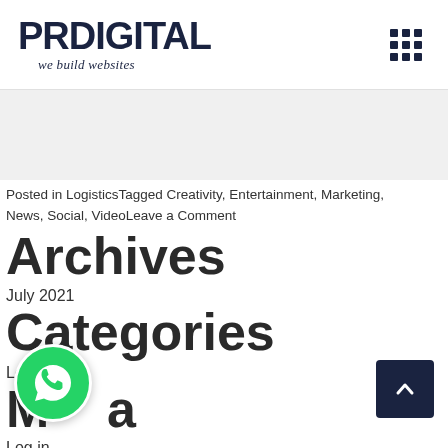[Figure (logo): PRDIGITAL logo with tagline 'we build websites']
[Figure (other): 3x3 grid icon (menu) in dark navy]
[Figure (other): Grey banner/advertisement area]
Posted in LogisticsTagged Creativity, Entertainment, Marketing, News, Social, VideoLeave a Comment
Archives
July 2021
Categories
Logistics
Meta
Log in
[Figure (other): WhatsApp floating button (green circle with phone icon)]
[Figure (other): Back to top button (dark navy square with upward chevron)]